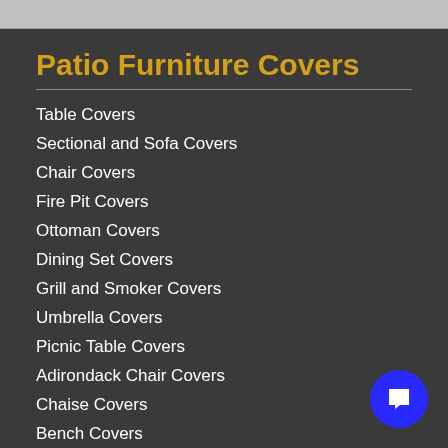Patio Furniture Covers
Table Covers
Sectional and Sofa Covers
Chair Covers
Fire Pit Covers
Ottoman Covers
Dining Set Covers
Grill and Smoker Covers
Umbrella Covers
Picnic Table Covers
Adirondack Chair Covers
Chaise Covers
Bench Covers
Picnic Table Covers